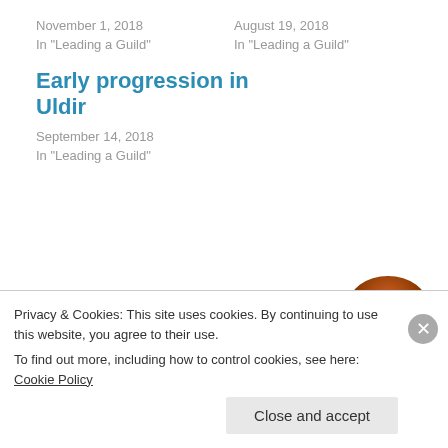November 1, 2018
In "Leading a Guild"
August 19, 2018
In "Leading a Guild"
Early progression in Uldir
September 14, 2018
In "Leading a Guild"
Published by GuildLeaderCali
Privacy & Cookies: This site uses cookies. By continuing to use this website, you agree to their use.
To find out more, including how to control cookies, see here: Cookie Policy
Close and accept